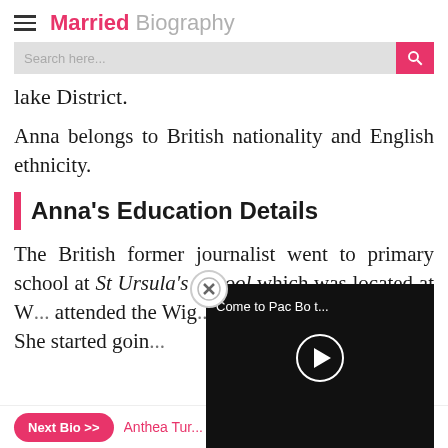Married Biography
lake District.
Anna belongs to British nationality and English ethnicity.
Anna's Education Details
The British former journalist went to primary school at St Ursula's School which was located at W... attended the Wig... She started goin...
[Figure (screenshot): Video overlay popup with close button showing 'Come to Pac Bo t...' title and play button on dark background]
Next Bio >> Anthea Tur...